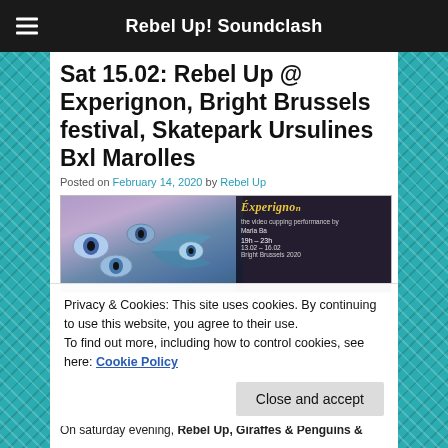Rebel Up! Soundclash
Sat 15.02: Rebel Up @ Experignon, Bright Brussels festival, Skatepark Ursulines Bxl Marolles
Posted on February 14, 2020 by Rebel Up
[Figure (photo): Event poster for Experignon at Bright Brussels 2020, showing illustrated eyes and colorful decorations on the left, and a dark overlay on the right with stylized text reading Experignon, the video cupping performance by Maria Ba, 19h-23h, 13.02-16.02, Bright Brussels 2020]
Privacy & Cookies: This site uses cookies. By continuing to use this website, you agree to their use.
To find out more, including how to control cookies, see here: Cookie Policy
On saturday evening, Rebel Up, Giraffes & Penguins &